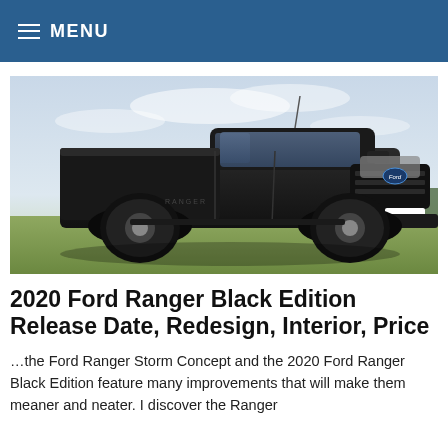≡ MENU
[Figure (photo): A black Ford Ranger pickup truck parked on a grassy field with a cloudy sky in the background. License plate reads XHU 108.]
2020 Ford Ranger Black Edition Release Date, Redesign, Interior, Price
…the Ford Ranger Storm Concept and the 2020 Ford Ranger Black Edition feature many improvements that will make them meaner and neater. I discover the Ranger